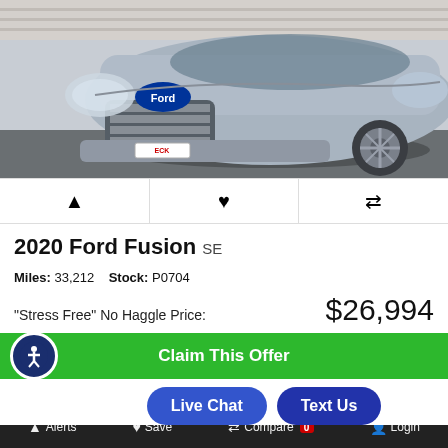[Figure (photo): Front view of a silver 2020 Ford Fusion SE parked against a brick wall background. Dealer license plate reads ECK.]
🔔  ♥  ⇄
2020 Ford Fusion SE
Miles: 33,212   Stock: P0704
"Stress Free" No Haggle Price:   $26,994
Claim This Offer
Live Chat   Text Us
Calculate Your Payment
Alerts   Save   Compare 0   Login